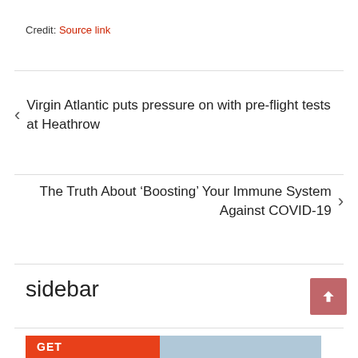Credit: Source link
< Virgin Atlantic puts pressure on with pre-flight tests at Heathrow
The Truth About ‘Boosting’ Your Immune System Against COVID-19 >
sidebar
[Figure (other): Promotional banner with orange/red GET text and building image]